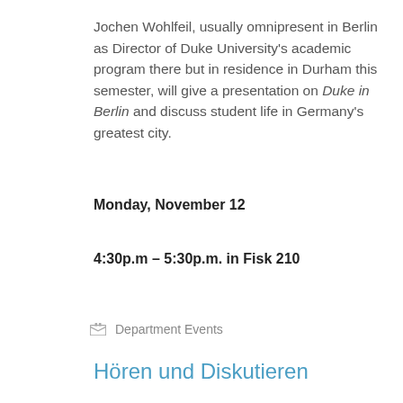Jochen Wohlfeil, usually omnipresent in Berlin as Director of Duke University's academic program there but in residence in Durham this semester, will give a presentation on Duke in Berlin and discuss student life in Germany's greatest city.
Monday, November 12
4:30p.m – 5:30p.m. in Fisk 210
Department Events
Hören und Diskutieren